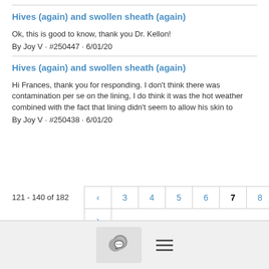Hives (again) and swollen sheath (again)
Ok, this is good to know, thank you Dr. Kellon!
By Joy V · #250447 · 6/01/20
Hives (again) and swollen sheath (again)
Hi Frances, thank you for responding. I don't think there was contamination per se on the lining, I do think it was the hot weather combined with the fact that lining didn't seem to allow his skin to
By Joy V · #250438 · 6/01/20
121 - 140 of 182
[Figure (other): Pagination controls with page numbers: < 3 4 5 6 7(active) 8 9 10 and > arrow below]
[Figure (other): Footer bar with chat bubble icon button and hamburger menu icon]